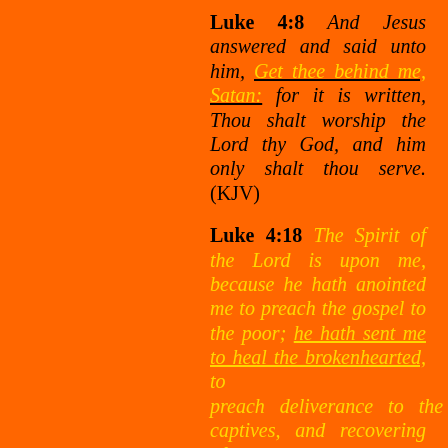Luke 4:8 And Jesus answered and said unto him, Get thee behind me, Satan: for it is written, Thou shalt worship the Lord thy God, and him only shalt thou serve. (KJV)
Luke 4:18 The Spirit of the Lord is upon me, because he hath anointed me to preach the gospel to the poor; he hath sent me to heal the brokenhearted, to preach deliverance to the captives, and recovering of sight to the blind, to set at liberty them that are bruised,(KJV)
Luke 11:2-4 And he said unto them, When ye pray, say, Our Father which art in heaven, Hallowed be thy name. Thy kingdom come. Thy will